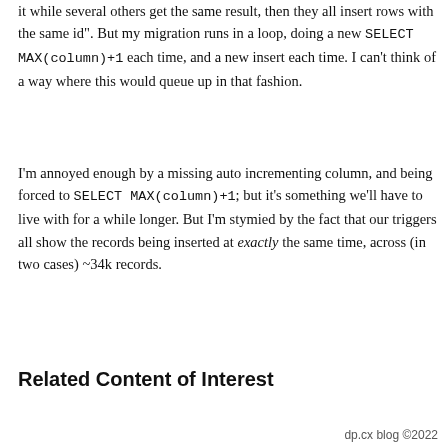it while several others get the same result, then they all insert rows with the same id". But my migration runs in a loop, doing a new SELECT MAX(column)+1 each time, and a new insert each time. I can't think of a way where this would queue up in that fashion.
I'm annoyed enough by a missing auto incrementing column, and being forced to SELECT MAX(column)+1; but it's something we'll have to live with for a while longer. But I'm stymied by the fact that our triggers all show the records being inserted at exactly the same time, across (in two cases) ~34k records.
Related Content of Interest
dp.cx blog ©2022